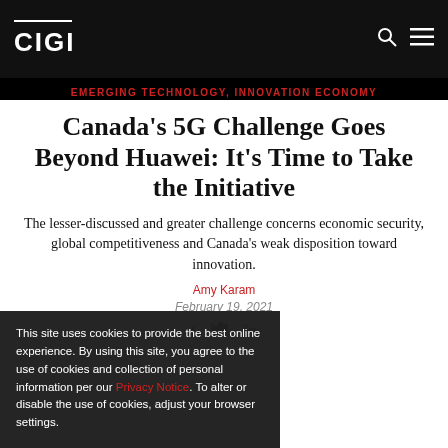CIGI
EMERGING TECHNOLOGY, INNOVATION ECONOMY
Canada’s 5G Challenge Goes Beyond Huawei: It’s Time to Take the Initiative
The lesser-discussed and greater challenge concerns economic security, global competitiveness and Canada’s weak disposition toward innovation.
Amy Karam
February 19, 2021
This site uses cookies to provide the best online experience. By using this site, you agree to the use of cookies and collection of personal information per our Privacy Notice. To alter or disable the use of cookies, adjust your browser settings.